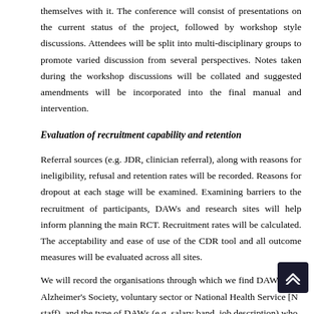themselves with it. The conference will consist of presentations on the current status of the project, followed by workshop style discussions. Attendees will be split into multi-disciplinary groups to promote varied discussion from several perspectives. Notes taken during the workshop discussions will be collated and suggested amendments will be incorporated into the final manual and intervention.
Evaluation of recruitment capability and retention
Referral sources (e.g. JDR, clinician referral), along with reasons for ineligibility, refusal and retention rates will be recorded. Reasons for dropout at each stage will be examined. Examining barriers to the recruitment of participants, DAWs and research sites will help inform planning the main RCT. Recruitment rates will be calculated. The acceptability and ease of use of the CDR tool and all outcome measures will be evaluated across all sites.
We will record the organisations through which we find DAWs (e.g. Alzheimer's Society, voluntary sector or National Health Service [NHS staff), and the type of DAWs (e.g. salary band, job description) who